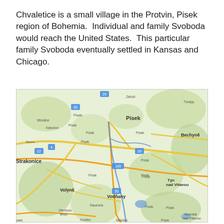Chvaletice is a small village in the Protvin, Pisek region of Bohemia.  Individual and family Svoboda would reach the United States.  This particular family Svoboda eventually settled in Kansas and Chicago.
[Figure (map): Google Maps view of the Pisek region in South Bohemia, Czech Republic, showing towns including Pisek, Strakonice, Bechyne, Tyn nad Vitavou, Vodnany, Volyne, and surrounding roads and terrain.]